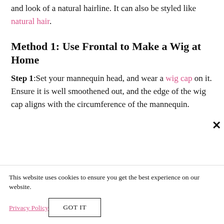Making a wig with a frontal gives you the feel and look of a natural hairline. It can also be styled like natural hair.
Method 1: Use Frontal to Make a Wig at Home
Step 1:Set your mannequin head, and wear a wig cap on it. Ensure it is well smoothened out, and the edge of the wig cap aligns with the circumference of the mannequin.
This website uses cookies to ensure you get the best experience on our website.
Privacy Policy
GOT IT